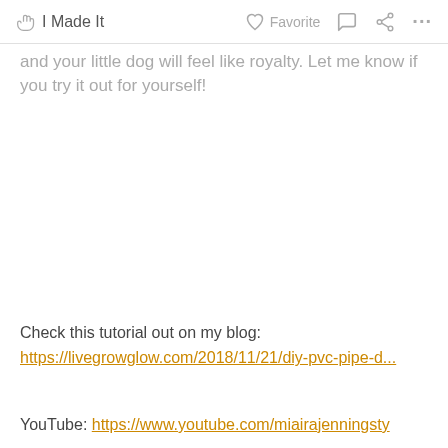✋ I Made It   ♡ Favorite   💬   ⋮⋮⋮
and your little dog will feel like royalty. Let me know if you try it out for yourself!
Check this tutorial out on my blog:
https://livegrowglow.com/2018/11/21/diy-pvc-pipe-d...
YouTube: https://www.youtube.com/miairajenningsty